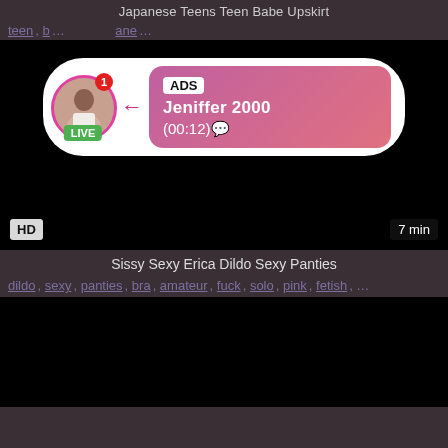Japanese Teens Teen Babe Upskirt
teen, b… …ane…
[Figure (screenshot): Black video player area with HD badge and 7 min duration, and an ad overlay showing a live profile (Jeniffer 2000, 00:12) with a pink gradient banner.]
Sissy Sexy Erica Dildo Sexy Panties
dildo, sexy, panties, bra, amateur, fuck, solo, pink, fetish, ...
[Figure (screenshot): Black video player area, bottom portion of page.]